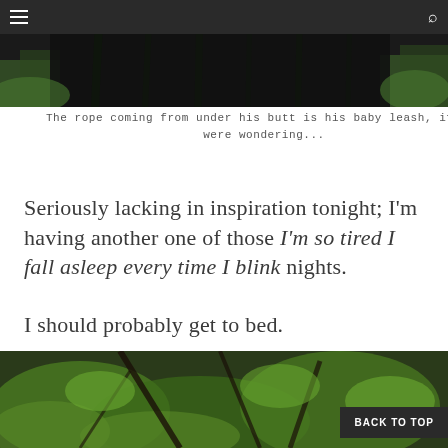[Figure (photo): Dark nature photo showing grass and dark background, partially visible at top of page]
The rope coming from under his butt is his baby leash, if you were wondering...
Seriously lacking in inspiration tonight; I'm having another one of those I'm so tired I fall asleep every time I blink nights.
I should probably get to bed.
[Figure (photo): Green foliage and tree branches nature photo, visible at bottom of page]
BACK TO TOP